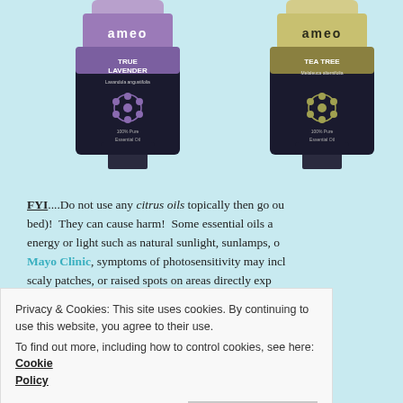[Figure (photo): Two essential oil bottles: True Lavender and Tea Tree by Ameo brand, partially cropped at top of page]
FYI....Do not use any citrus oils topically then go ou bed)! They can cause harm! Some essential oils a energy or light such as natural sunlight, sunlamps, o Mayo Clinic, symptoms of photosensitivity may incl scaly patches, or raised spots on areas directly exp and the rash may last for several days. Dark pigme phototoxic reaction typically shows up as an exagge
Privacy & Cookies: This site uses cookies. By continuing to use this website, you agree to their use.
To find out more, including how to control cookies, see here: Cookie Policy
exposing skin to UV rays. The stronger and more le